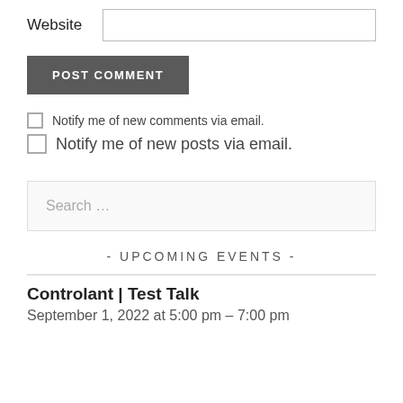Website
POST COMMENT
Notify me of new comments via email.
Notify me of new posts via email.
Search …
- UPCOMING EVENTS -
Controlant | Test Talk
September 1, 2022 at 5:00 pm – 7:00 pm